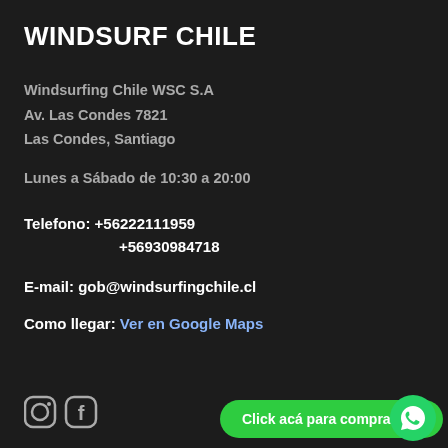WINDSURF CHILE
Windsurfing Chile WSC S.A
Av. Las Condes 7821
Las Condes, Santiago
Lunes a Sábado de 10:30 a 20:00
Telefono: +56222111959
+56930984718
E-mail: gob@windsurfingchile.cl
Como llegar: Ver en Google Maps
[Figure (other): Instagram and Facebook social media icons at bottom left]
Click acá para comprar! >>
[Figure (logo): WhatsApp circular green button with phone icon]